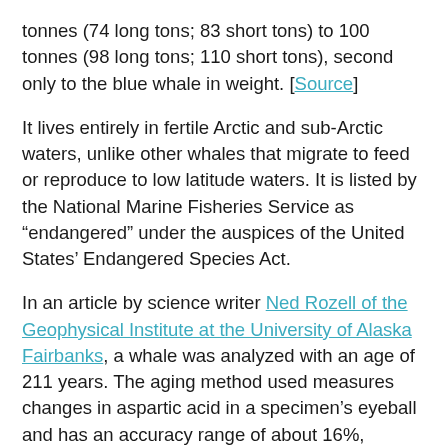tonnes (74 long tons; 83 short tons) to 100 tonnes (98 long tons; 110 short tons), second only to the blue whale in weight. [Source]
It lives entirely in fertile Arctic and sub-Arctic waters, unlike other whales that migrate to feed or reproduce to low latitude waters. It is listed by the National Marine Fisheries Service as “endangered” under the auspices of the United States’ Endangered Species Act.
In an article by science writer Ned Rozell of the Geophysical Institute at the University of Alaska Fairbanks, a whale was analyzed with an age of 211 years. The aging method used measures changes in aspartic acid in a specimen’s eyeball and has an accuracy range of about 16%, meaning the 211 year-old bowhead could have been from 177 – 245 years old. This would make it the oldest known mammal that exists. [Source]